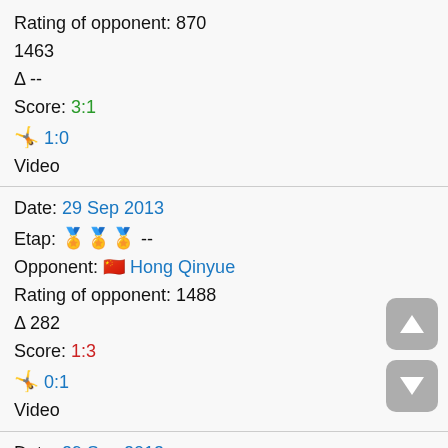Rating of opponent: 870
1463
Δ --
Score: 3:1
🤸 1:0
Video
Date: 29 Sep 2013
Etap: 🏅🏅🏅 --
Opponent: 🇨🇳 Hong Qinyue
Rating of opponent: 1488
Δ 282
Score: 1:3
🤸 0:1
Video
Date: 29 Sep 2013
Etap: 🏅🏅🏅
+ 🇰🇷 Kang Dayeon --
Opponent: 🇨🇳 Shi Xunyao